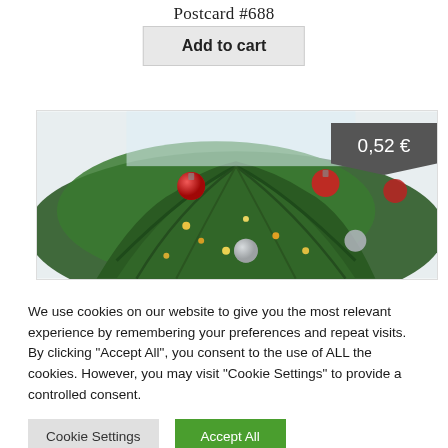Postcard #688
Add to cart
[Figure (photo): A close-up photo of a decorated Christmas tree with red and silver ornament balls and lights. A dark grey price badge showing '0,52 €' is overlaid on the top-right of the image.]
We use cookies on our website to give you the most relevant experience by remembering your preferences and repeat visits. By clicking "Accept All", you consent to the use of ALL the cookies. However, you may visit "Cookie Settings" to provide a controlled consent.
Cookie Settings
Accept All